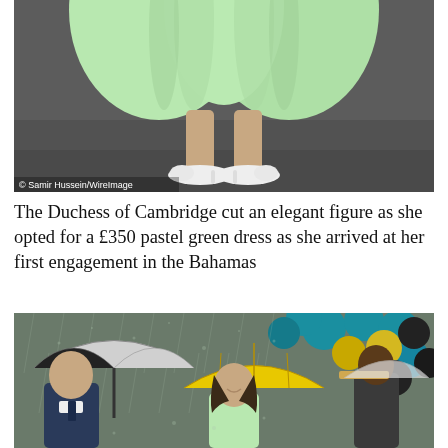[Figure (photo): Close-up photo of the lower half of a person wearing a pale mint/pastel green dress and white pointed-toe heels, standing on a dark grey surface. Photo credit: © Samir Hussein/WireImage]
The Duchess of Cambridge cut an elegant figure as she opted for a £350 pastel green dress as she arrived at her first engagement in the Bahamas
[Figure (photo): Photo of the Duke and Duchess of Cambridge arriving in the rain. Prince William holds a large black and white golf umbrella, Kate holds a yellow umbrella and smiles wearing a green dress. In the background are teal, yellow, and black balloons.]